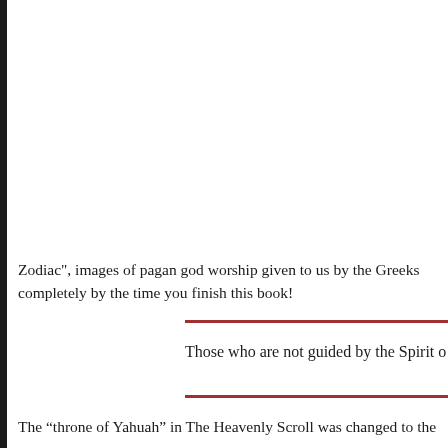Zodiac", images of pagan god worship given to us by the Greeks completely by the time you finish this book!
Those who are not guided by the Spirit o
The “throne of Yahuah” in The Heavenly Scroll was changed to the